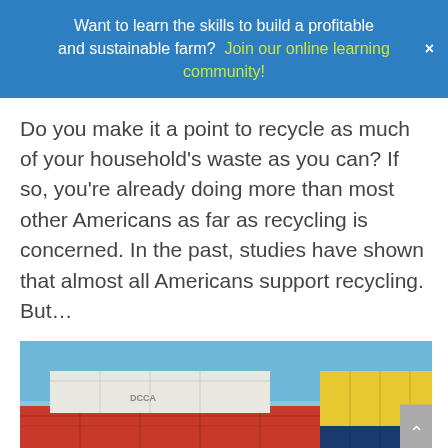Want to learn the skills to build a profitable and sustainable farm? Join our online learning community!
Do you make it a point to recycle as much of your household's waste as you can? If so, you're already doing more than most other Americans as far as recycling is concerned. In the past, studies have shown that almost all Americans support recycling. But…
[Figure (photo): Stacked shipping containers in red, yellow, and dark blue colors against a blue sky, with overlay text reading 'Tips for Starting Your Own Distribution Firm']